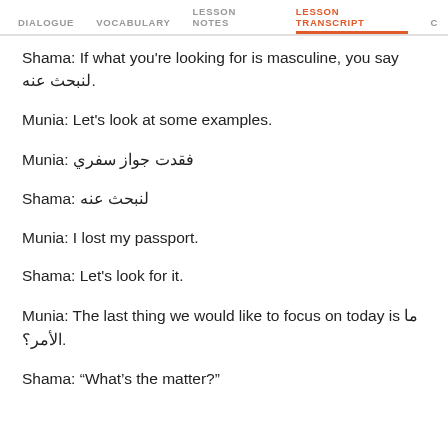DIALOGUE | VOCABULARY | LESSON NOTES | LESSON TRANSCRIPT | C
Shama: If what you're looking for is masculine, you say لنبحث عنه.
Munia: Let's look at some examples.
Munia: فقدت جواز سفري
Shama: لنبحث عنه
Munia: I lost my passport.
Shama: Let's look for it.
Munia: The last thing we would like to focus on today is ما الأمر؟.
Shama: "What's the matter?"